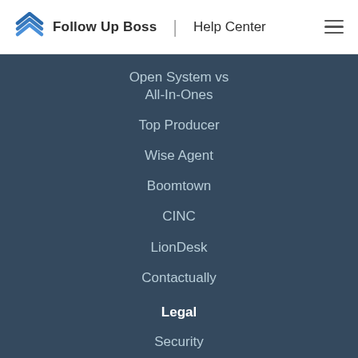Follow Up Boss | Help Center
Open System vs All-In-Ones
Top Producer
Wise Agent
Boomtown
CINC
LionDesk
Contactually
Legal
Security
Privacy